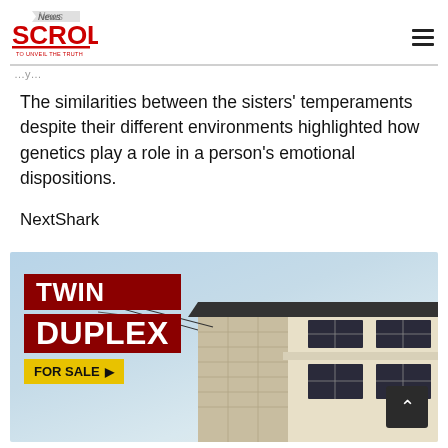News Scroll - To Unveil The Truth
The similarities between the sisters' temperaments despite their different environments highlighted how genetics play a role in a person's emotional dispositions.
NextShark
[Figure (photo): Advertisement banner for Twin Duplex For Sale showing a building exterior with cream/beige stone facade and dark-framed windows against a pale blue sky background. Red banner with white text reading TWIN DUPLEX and yellow badge reading FOR SALE with arrow.]